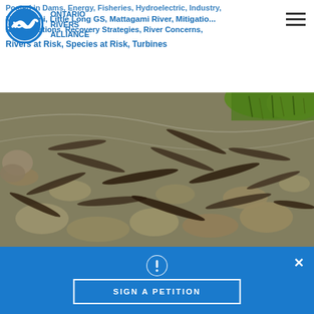Ontario Rivers Alliance
Posted in Dams, Energy, Fisheries, Hydroelectric, Industry, Mattagami, Little Long GS, Mattagami River, Mitigation, Rehabilitations, Recovery Strategies, River Concerns, Rivers at Risk, Species at Risk, Turbines
[Figure (photo): Aerial or close-up photo of many fish (likely lake sturgeon or similar species) visible in shallow, rocky river water with stones and some green shoreline vegetation visible in top right corner.]
SIGN A PETITION